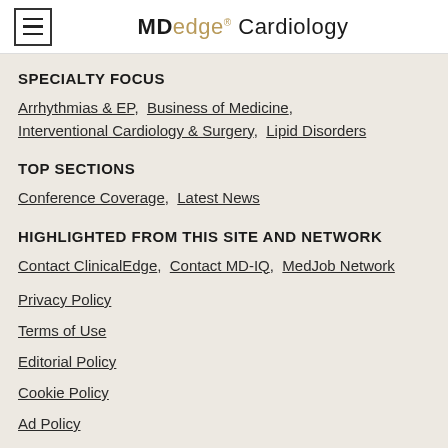MDedge Cardiology
SPECIALTY FOCUS
Arrhythmias & EP, Business of Medicine, Interventional Cardiology & Surgery, Lipid Disorders
TOP SECTIONS
Conference Coverage, Latest News
HIGHLIGHTED FROM THIS SITE AND NETWORK
Contact ClinicalEdge, Contact MD-IQ, MedJob Network
Privacy Policy
Terms of Use
Editorial Policy
Cookie Policy
Ad Policy